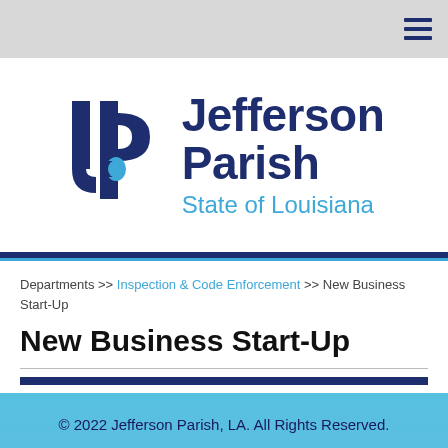[Figure (logo): Jefferson Parish, State of Louisiana logo with stylized JP lettermark in navy blue and light blue]
Departments >> Inspection & Code Enforcement >> New Business Start-Up
New Business Start-Up
© 2022 Jefferson Parish, LA. All Rights Reserved.